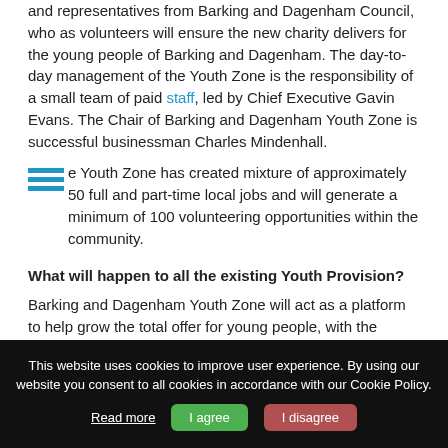and representatives from Barking and Dagenham Council, who as volunteers will ensure the new charity delivers for the young people of Barking and Dagenham.  The day-to-day management of the Youth Zone is the responsibility of a small team of paid staff, led by Chief Executive Gavin Evans. The Chair of Barking and Dagenham Youth Zone is successful businessman Charles Mindenhall.
The Youth Zone has created mixture of approximately 50 full and part-time local jobs and will generate a minimum of 100 volunteering opportunities within the community.
What will happen to all the existing Youth Provision?
Barking and Dagenham Youth Zone will act as a platform to help grow the total offer for young people, with the purpose of
This website uses cookies to improve user experience. By using our website you consent to all cookies in accordance with our Cookie Policy.